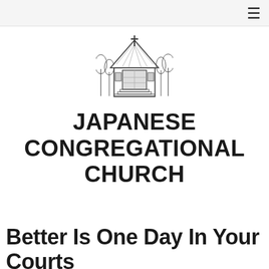≡
[Figure (illustration): Black and white sketch/illustration of a church building with a steep triangular roof, cross visible, surrounded by trees]
JAPANESE CONGREGATIONAL CHURCH
Better Is One Day In Your Courts